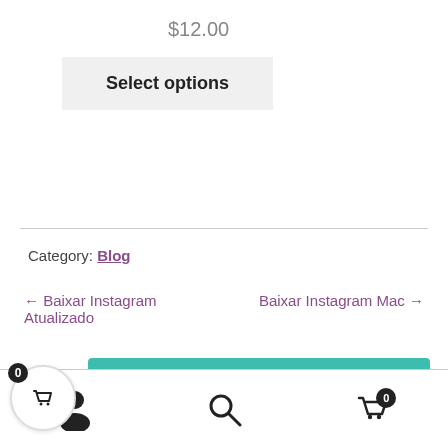$12.00
Select options
Category: Blog
← Baixar Instagram Atualizado
Baixar Instagram Mac →
How can I help you?
0  [user icon] [search icon] [cart icon] 0